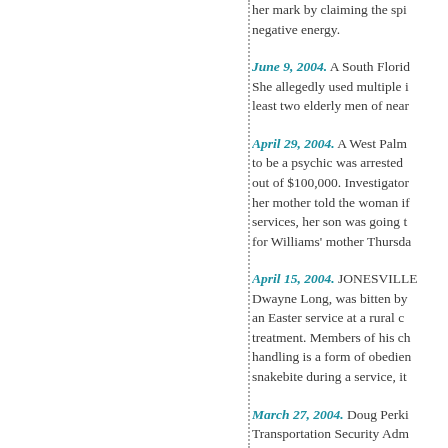her mark by claiming the spi... negative energy.
June 9, 2004. A South Florid... She allegedly used multiple i... least two elderly men of near...
April 29, 2004. A West Palm... to be a psychic was arrested... out of $100,000. Investigator... her mother told the woman if... services, her son was going t... for Williams' mother Thursda...
April 15, 2004. JONESVILLE... Dwayne Long, was bitten by... an Easter service at a rural c... treatment. Members of his ch... handling is a form of obedien... snakebite during a service, it...
March 27, 2004. Doug Perki... Transportation Security Adm...